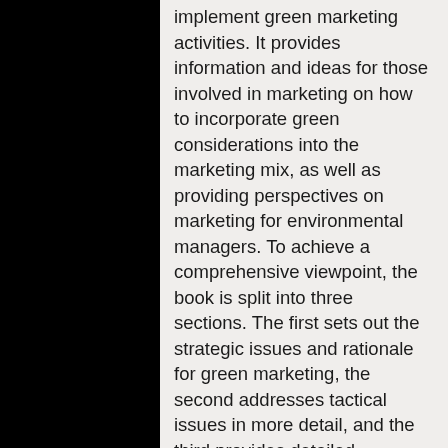implement green marketing activities. It provides information and ideas for those involved in marketing on how to incorporate green considerations into the marketing mix, as well as providing perspectives on marketing for environmental managers. To achieve a comprehensive viewpoint, the book is split into three sections. The first sets out the strategic issues and rationale for green marketing, the second addresses tactical issues in more detail, and the third provides detailed, international case studies. Topics addressed by the contributors include the growing debate around products versus services, environmental product development and eco-innovation, green marketing alliances, environmental communications, green consumers, eco-tourism and the problems associated with green marketing in developing countries.